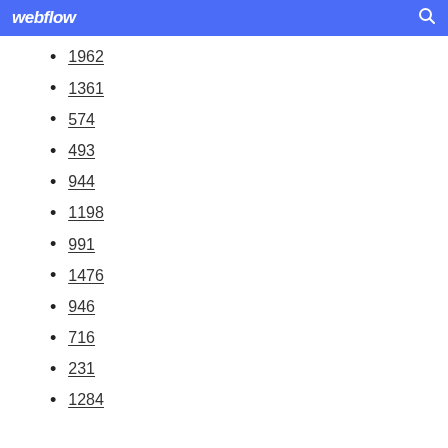webflow
1962
1361
574
493
944
1198
991
1476
946
716
231
1284